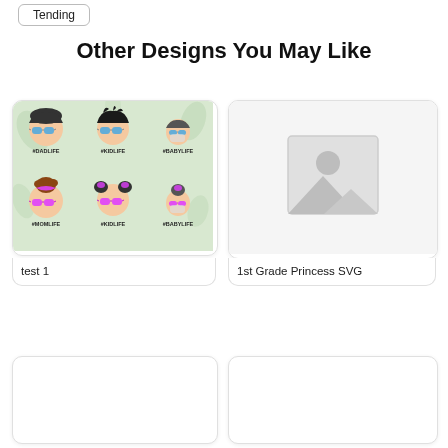Tending
Other Designs You May Like
[Figure (illustration): Family SVG design showing 6 cartoon faces with sunglasses: #DADLIFE, #KIDLIFE, #BABYLIFE (top row, male figures), #MOMLIFE, #KIDLIFE, #BABYLIFE (bottom row, female figures with buns and pink sunglasses), on a light green floral background]
test 1
[Figure (photo): Placeholder image icon (grey mountain/sun silhouette on grey background)]
1st Grade Princess SVG